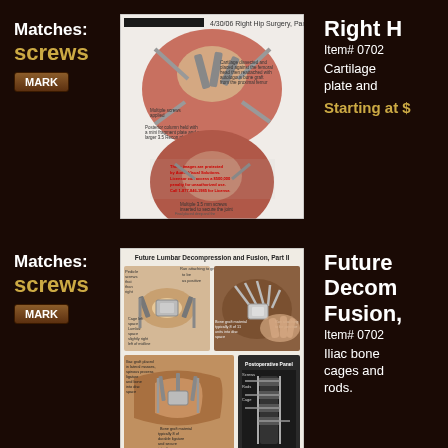Matches:
screws
MARK
[Figure (illustration): 4/30/06 Right Hip Surgery, Part II - medical illustration showing surgical procedure on hip with screws and plate fixation, multiple views]
Right H
Item# 0702
Cartilage plate and
Starting at $
Matches:
screws
MARK
[Figure (illustration): Future Lumbar Decompression and Fusion, Part II - medical illustration showing spinal surgery with iliac bone cages and rods, multiple views including postoperative panel]
Future Decom Fusion,
Item# 0702
Iliac bone cages and rods.